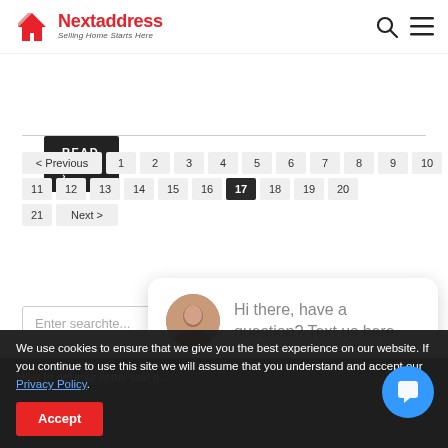[Figure (logo): Nextaddress logo with red house icon and tagline 'Selling Home Starts Here']
READ MORE ›
< Previous 1 2 3 4 5 6 7 8 9 10 11 12 13 14 15 16 17 18 19 20 21 Next >
close
Enter searchte...
Hi there, have a question? Text us here.
How to get your home sold q...
We use cookies to ensure that we give you the best experience on our website. If you continue to use this site we will assume that you understand and accept our Privacy Policy.
Accept